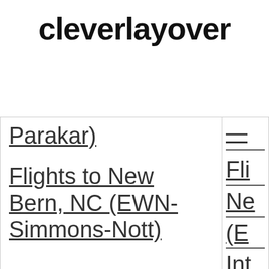cleverlayover
| Parakar) | Fli... |
| Flights to New Bern, NC (EWN-Simmons-Nott) | Fli Ne (E Int Ai |